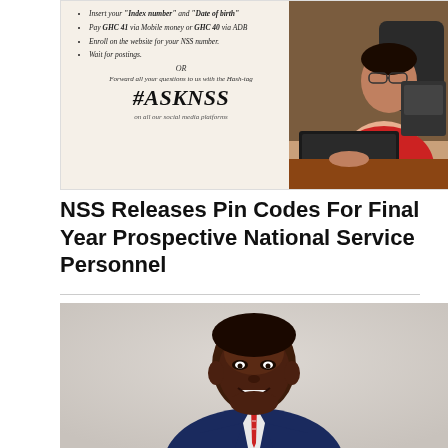[Figure (photo): NSS promotional banner with text instructions and a woman in a red uniform working at a laptop. Includes bullet points with steps to register, the hashtag #ASKNSS, and mentions of social media platforms.]
NSS Releases Pin Codes For Final Year Prospective National Service Personnel
[Figure (photo): Professional headshot of a young Black man in a navy blue suit with a red and white tie, smiling, against a light grey background.]